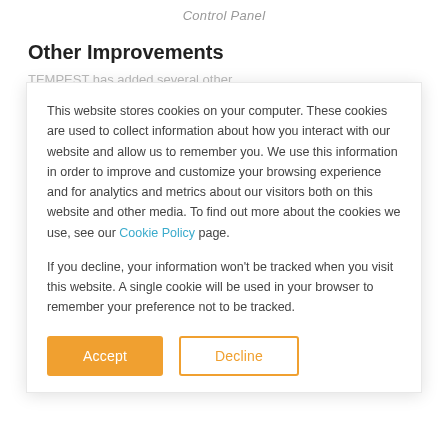Control Panel
Other Improvements
TEMPEST has added several other
This website stores cookies on your computer. These cookies are used to collect information about how you interact with our website and allow us to remember you. We use this information in order to improve and customize your browsing experience and for analytics and metrics about our visitors both on this website and other media. To find out more about the cookies we use, see our Cookie Policy page.
If you decline, your information won't be tracked when you visit this website. A single cookie will be used in your browser to remember your preference not to be tracked.